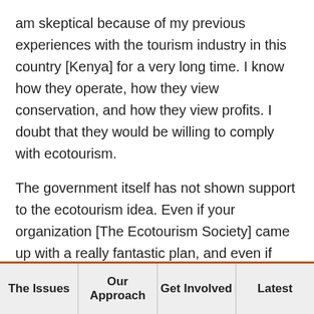am skeptical because of my previous experiences with the tourism industry in this country [Kenya] for a very long time. I know how they operate, how they view conservation, and how they view profits. I doubt that they would be willing to comply with ecotourism.
The government itself has not shown support to the ecotourism idea. Even if your organization [The Ecotourism Society] came up with a really fantastic plan, and even if they obtained resources in the form of money or whatever is required to implement the ecotourism idea; I do not see the seriousness of the government (or even the local authorities) to support this endeavor. As long as you don't have that support it
The Issues | Our Approach | Get Involved | Latest